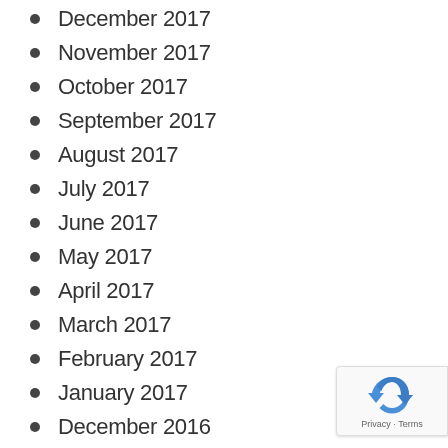December 2017
November 2017
October 2017
September 2017
August 2017
July 2017
June 2017
May 2017
April 2017
March 2017
February 2017
January 2017
December 2016
September 2016